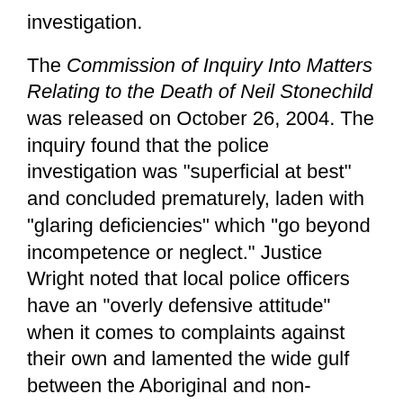investigation.
The Commission of Inquiry Into Matters Relating to the Death of Neil Stonechild was released on October 26, 2004. The inquiry found that the police investigation was "superficial at best" and concluded prematurely, laden with "glaring deficiencies" which "go beyond incompetence or neglect." Justice Wright noted that local police officers have an "overly defensive attitude" when it comes to complaints against their own and lamented the wide gulf between the Aboriginal and non-Aboriginal population in the province, including a long-standing distrust of non-Aboriginal institutions (such as the police). Wright recommended, among others, a review and improvement of the procedures that deal with complaints from the public about police misconduct.
Judge Wright's recommendations led to several amendments to Saskatchewan's Police Act. [11] As a result of consultations between local police services and First Nations groups, the Public Complaints Commission